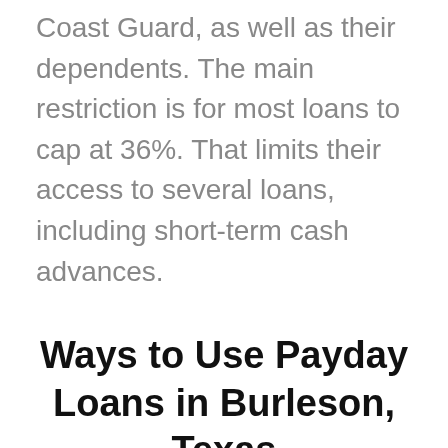Coast Guard, as well as their dependents. The main restriction is for most loans to cap at 36%. That limits their access to several loans, including short-term cash advances.
Ways to Use Payday Loans in Burleson, Texas
A payday loan is helpful when all other options have been exhausted.